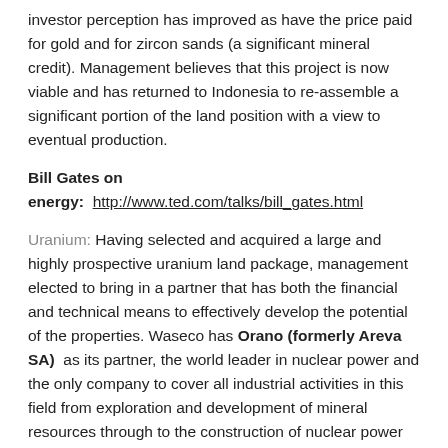investor perception has improved as have the price paid for gold and for zircon sands (a significant mineral credit). Management believes that this project is now viable and has returned to Indonesia to re-assemble a significant portion of the land position with a view to eventual production.
Bill Gates on energy:  http://www.ted.com/talks/bill_gates.html
Uranium: Having selected and acquired a large and highly prospective uranium land package, management elected to bring in a partner that has both the financial and technical means to effectively develop the potential of the properties. Waseco has Orano (formerly Areva SA) as its partner, the world leader in nuclear power and the only company to cover all industrial activities in this field from exploration and development of mineral resources through to the construction of nuclear power plants, fuel treatment and recycling of reusable materials. Exploration success should lead to the creation of value and translate into significant share appreciation. [more]